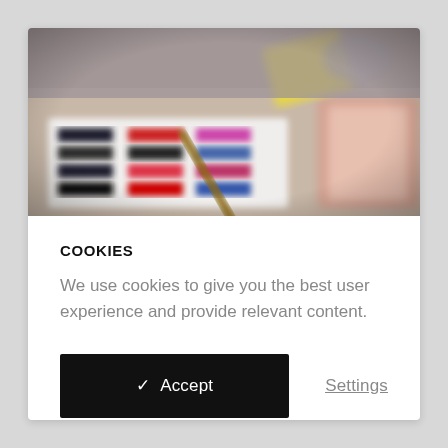[Figure (photo): Blurred close-up photo of fabric color swatches or paint samples laid on a flat surface, showing stripes of dark navy, black, red, pink/magenta, and other colors, with a pencil or pen and some papers/books visible in the background.]
COOKIES
We use cookies to give you the best user experience and provide relevant content.
✓  Accept
Settings